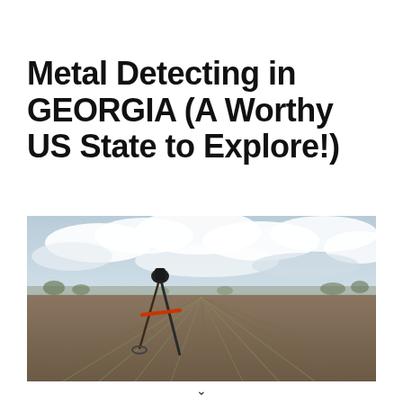Metal Detecting in GEORGIA (A Worthy US State to Explore!)
[Figure (photo): A metal detector leaned against itself in a large flat plowed agricultural field under a cloudy sky with rows of young crop seedlings visible in the brown soil, horizon with distant trees.]